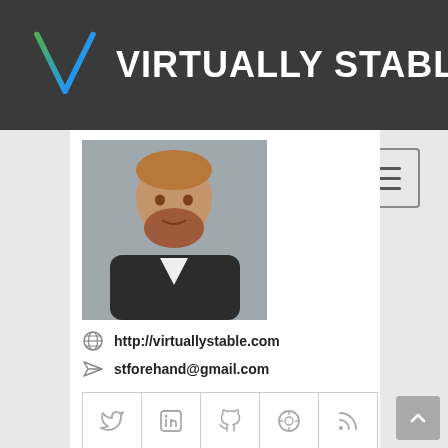VIRTUALLY STABLE
[Figure (photo): Profile photo of a man with a red beard wearing a dark blazer and white shirt, professional headshot against a grey background]
http://virtuallystable.com
stforehand@gmail.com
[Figure (infographic): Social media icons row: Twitter, LinkedIn, GitHub, WordPress, RSS]
Scott is an experienced professional and recognized leader specializing in the